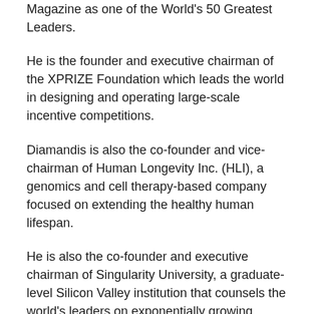Magazine as one of the World's 50 Greatest Leaders.
He is the founder and executive chairman of the XPRIZE Foundation which leads the world in designing and operating large-scale incentive competitions.
Diamandis is also the co-founder and vice-chairman of Human Longevity Inc. (HLI), a genomics and cell therapy-based company focused on extending the healthy human lifespan.
He is also the co-founder and executive chairman of Singularity University, a graduate-level Silicon Valley institution that counsels the world's leaders on exponentially growing technologies.
In the field of commercial space, Diamandis is co-founder and co-chairman of Planetary Resources, a company